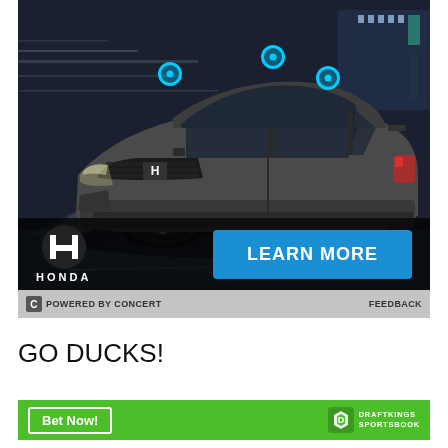[Figure (photo): Honda SUV advertisement showing a dark gray Honda CR-V driving at night on a road with motion blur background. Features Honda logo, 'LEARN MORE' blue button, and cyan interactive dots on the car. Bottom bar shows 'POWERED BY CONCERT' and 'FEEDBACK'.]
GO DUCKS!
[Figure (infographic): DraftKings Sportsbook advertisement banner in green with 'Bet Now!' button on left and DraftKings Sportsbook logo on right.]